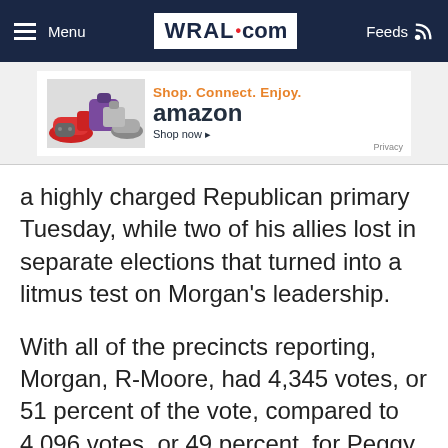Menu | WRAL.com | Feeds
[Figure (illustration): Amazon advertisement banner: 'Shop. Connect. Enjoy. amazon Shop now ▸' with product images and Privacy label]
a highly charged Republican primary Tuesday, while two of his allies lost in separate elections that turned into a litmus test on Morgan's leadership.
With all of the precincts reporting, Morgan, R-Moore, had 4,345 votes, or 51 percent of the vote, compared to 4,096 votes, or 49 percent, for Peggy Crutchfield, according to